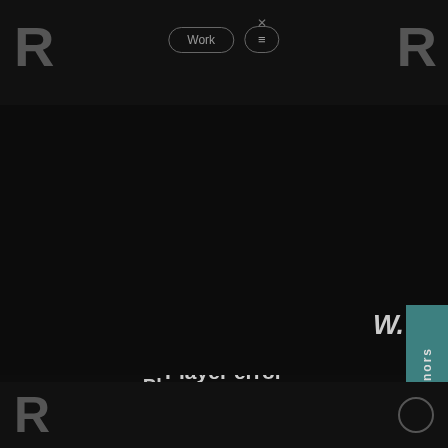[Figure (screenshot): Website navigation bar with large 'R' logo letters on both sides, 'Work' pill button and hamburger/close menu button in center, on dark background]
[Figure (screenshot): Teal side panel with 'Honors' text rotated vertically and 'W.' text in bold italic]
Player error
The player is having trouble. We'll have it back up and running as soon as possible.
☐  This website uses cookies to provide you with the best browsing experience. Find out more or adjust your settings.
Enable All
Reject
[Figure (screenshot): Bottom navigation bar with large 'R' logo on left and circle icon on right, dark background]